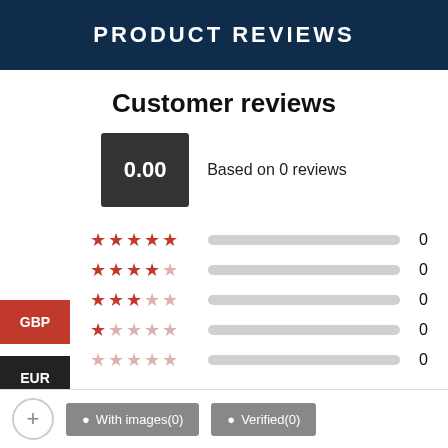PRODUCT REVIEWS
Customer reviews
0.00   Based on 0 reviews
5 stars: 0
4 stars: 0
3 stars: 0
2 stars: 0
1 star: 0
GBP
EUR
With images(0)   Verified(0)